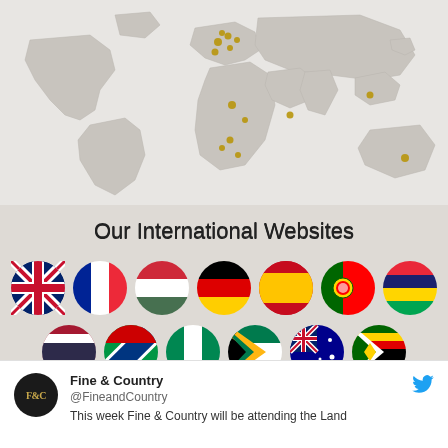[Figure (map): World map in light grey with gold/yellow dot markers indicating Fine & Country international office locations across Europe, Africa, Asia, and Australia]
Our International Websites
[Figure (infographic): Two rows of circular flag icons representing international websites: Row 1: UK, France, Hungary, Germany, Spain, Portugal, Mauritius. Row 2: Thailand, Namibia, Nigeria, South Africa, Australia, Zimbabwe]
[Figure (infographic): Twitter/X post by Fine & Country (@FineandCountry) with logo avatar. Text begins: This week Fine & Country will be attending the Land...]
Fine & Country
@FineandCountry
This week Fine & Country will be attending the Land